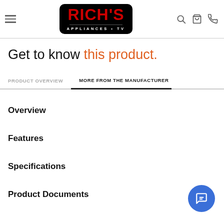Rich's Appliances TV
Get to know this product.
PRODUCT OVERVIEW
MORE FROM THE MANUFACTURER
Overview
Features
Specifications
Product Documents